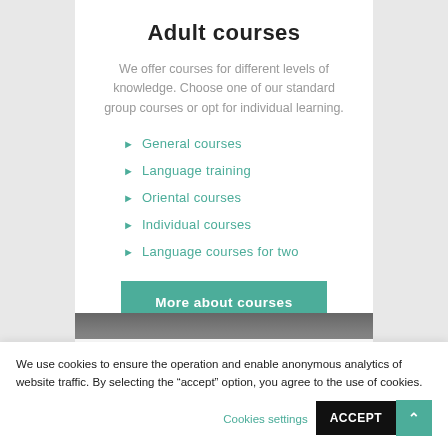Adult courses
We offer courses for different levels of knowledge. Choose one of our standard group courses or opt for individual learning.
General courses
Language training
Oriental courses
Individual courses
Language courses for two
More about courses
We use cookies to ensure the operation and enable anonymous analytics of website traffic. By selecting the “accept” option, you agree to the use of cookies.
Cookies settings
ACCEPT